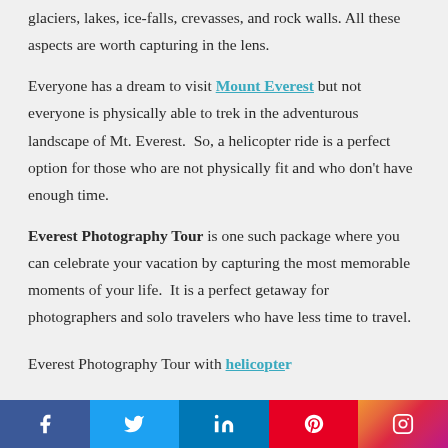glaciers, lakes, ice-falls, crevasses, and rock walls. All these aspects are worth capturing in the lens.
Everyone has a dream to visit Mount Everest but not everyone is physically able to trek in the adventurous landscape of Mt. Everest.  So, a helicopter ride is a perfect option for those who are not physically fit and who don't have enough time.
Everest Photography Tour is one such package where you can celebrate your vacation by capturing the most memorable moments of your life.  It is a perfect getaway for photographers and solo travelers who have less time to travel.
Everest Photography Tour with helicopter...
[Figure (other): Social media share bar at bottom with Facebook, Twitter, LinkedIn, Pinterest, and Instagram icons]